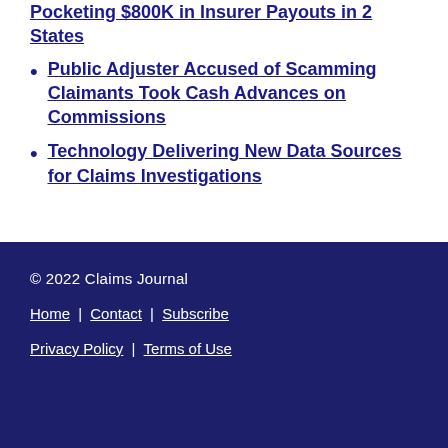Pocketing $800K in Insurer Payouts in 2 States
Public Adjuster Accused of Scamming Claimants Took Cash Advances on Commissions
Technology Delivering New Data Sources for Claims Investigations
© 2022 Claims Journal
Home | Contact | Subscribe
Privacy Policy | Terms of Use